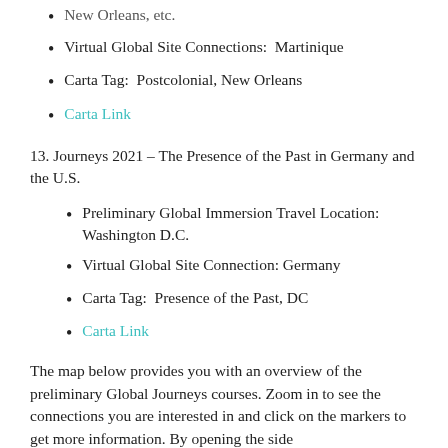New Orleans, etc.
Virtual Global Site Connections:  Martinique
Carta Tag:  Postcolonial, New Orleans
Carta Link
13. Journeys 2021 – The Presence of the Past in Germany and the U.S.
Preliminary Global Immersion Travel Location: Washington D.C.
Virtual Global Site Connection: Germany
Carta Tag:  Presence of the Past, DC
Carta Link
The map below provides you with an overview of the preliminary Global Journeys courses. Zoom in to see the connections you are interested in and click on the markers to get more information. By opening the side